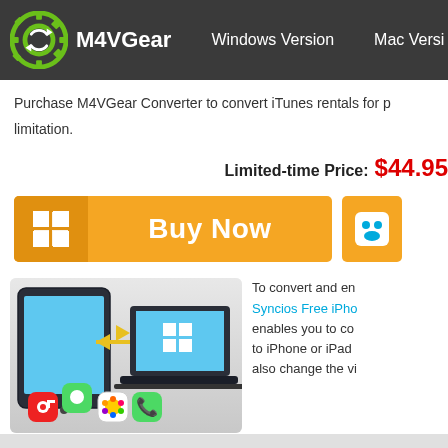M4VGear  Windows Version  Mac Version
Purchase M4VGear Converter to convert iTunes rentals for p... limitation.
Limited-time Price: $44.95
[Figure (screenshot): Buy Now button (orange) with Windows logo icon, and partial Mac version button]
[Figure (illustration): Devices illustration showing tablet and laptop with app icons (Messages, Music, Photos, Phone) and arrows indicating transfer]
To convert and enjoy... Syncios Free iPho... enables you to convert... to iPhone or iPad... also change the vi...
a try to convert and transfer your favorite videos for playba...